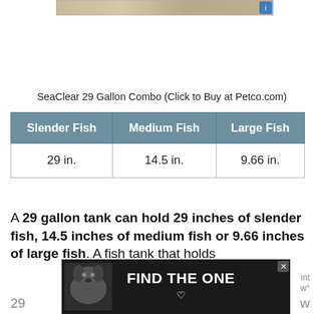[Figure (other): Banner advertisement at top of page with sandy/textured background]
SeaClear 29 Gallon Combo (Click to Buy at Petco.com)
| Slender Fish | Medium Fish | Large Fish |
| --- | --- | --- |
| 29 in. | 14.5 in. | 9.66 in. |
A 29 gallon tank can hold 29 inches of slender fish, 14.5 inches of medium fish or 9.66 inches of large fish. A fish tank that holds 29
[Figure (other): Bottom advertisement banner: dark background with dog photo and text FIND THE ONE with heart symbol]